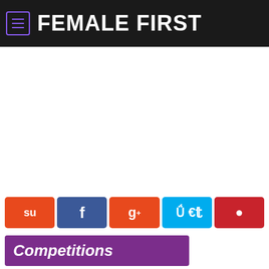FEMALE FIRST
[Figure (other): White advertisement/content space]
[Figure (infographic): Social share buttons bar: StumbleUpon (orange), Facebook (dark blue), Google+ (red/orange), Twitter (light blue), Pinterest (red)]
Competitions
[Figure (photo): Partial photo strip showing blurred figures, appears to be people]